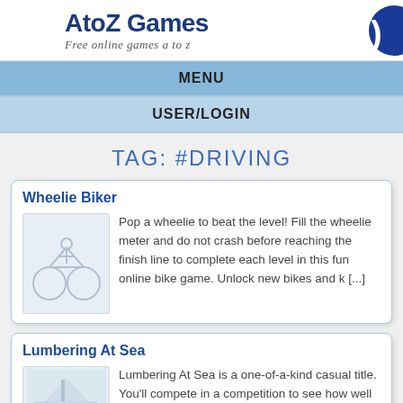AtoZ Games – Free online games a to z
MENU
USER/LOGIN
TAG: #DRIVING
Wheellie Biker
Pop a wheellie to beat the level! Fill the wheelie meter and do not crash before reaching the finish line to complete each level in this fun online bike game. Unlock new bikes and k [...]
Lumbering At Sea
Lumbering At Sea is a one-of-a-kind casual title. You'll compete in a competition to see how well you can live at sea! Control the